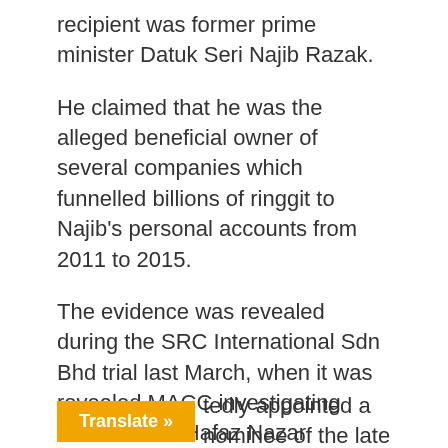recipient was former prime minister Datuk Seri Najib Razak.
He claimed that he was the alleged beneficial owner of several companies which funnelled billions of ringgit to Najib's personal accounts from 2011 to 2015.
The evidence was revealed during the SRC International Sdn Bhd trial last March, when it was revealed MACC investigating officer Mohd Hafaz Nazar purportedly recorded Tan's statement in the palace of King Abdullah Abdulaziz in Riyadh on Nov 29, 2015.
tedly appointed a nominee of the late